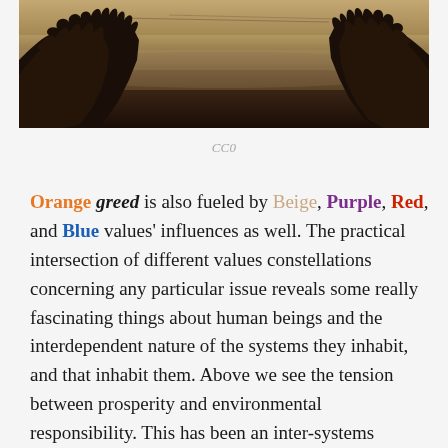[Figure (photo): Misty landscape photo showing silhouetted trees against a hazy, amber-toned sky with fog or smog in the background]
CC0
Orange greed is also fueled by Beige, Purple, Red, and Blue values' influences as well. The practical intersection of different values constellations concerning any particular issue reveals some really fascinating things about human beings and the interdependent nature of the systems they inhabit, and that inhabit them. Above we see the tension between prosperity and environmental responsibility. This has been an inter-systems struggle for over 50 years. We'll look further into this